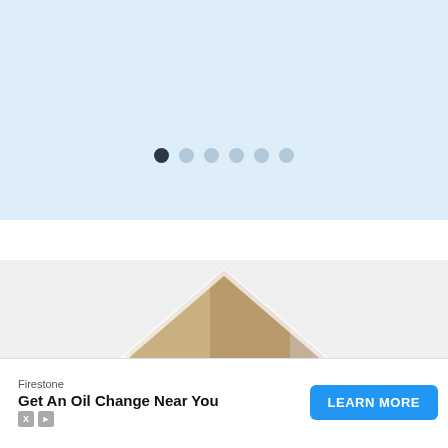[Figure (other): Light blue background slider/carousel section with pagination dots at bottom. Six dots shown, first dot is dark (active), remaining five are light grey.]
[Figure (photo): Photo of people's legs and feet sitting, wearing khaki pants and casual shoes (sneakers), clipped inside a rounded triangle shape on a light grey background.]
Firestone
Get An Oil Change Near You
LEARN MORE